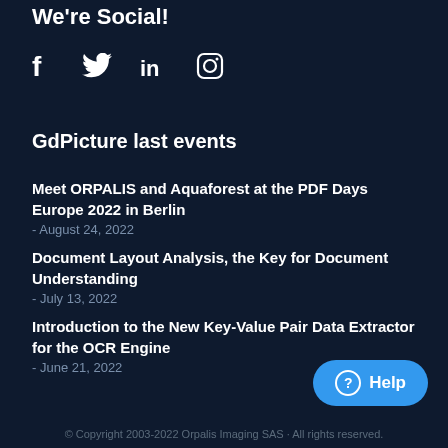We're Social!
[Figure (illustration): Social media icons: Facebook (f), Twitter (bird), LinkedIn (in), Instagram (camera)]
GdPicture last events
Meet ORPALIS and Aquaforest at the PDF Days Europe 2022 in Berlin
- August 24, 2022
Document Layout Analysis, the Key for Document Understanding
- July 13, 2022
Introduction to the New Key-Value Pair Data Extractor for the OCR Engine
- June 21, 2022
© Copyright 2003-2022 Orpalis Imaging SAS · All rights reserved.